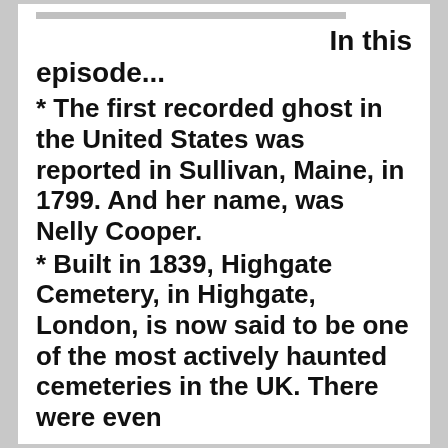In this episode...
* The first recorded ghost in the United States was reported in Sullivan, Maine, in 1799. And her name, was Nelly Cooper.
* Built in 1839, Highgate Cemetery, in Highgate, London, is now said to be one of the most actively haunted cemeteries in the UK. There were even